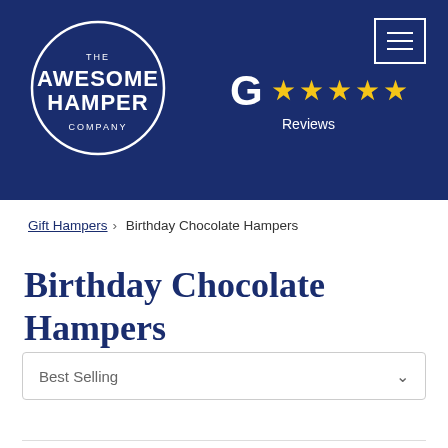[Figure (logo): The Awesome Hamper Company logo — white circle with company name text on navy blue background]
[Figure (infographic): Google G logo with 5 gold stars and 'Reviews' text on navy background]
Gift Hampers › Birthday Chocolate Hampers
Birthday Chocolate Hampers
Best Selling